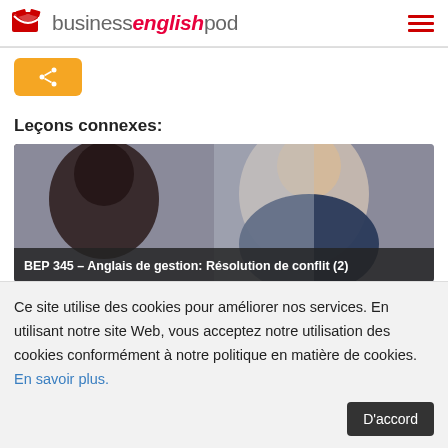businessenglishpod
[Figure (logo): Business English Pod logo with red book icon and brand name]
[Figure (other): Orange share button with share icon]
Leçons connexes:
[Figure (photo): Photo of two people in conversation, lesson thumbnail for BEP 345]
BEP 345 – Anglais de gestion: Résolution de conflit (2)
Ce site utilise des cookies pour améliorer nos services. En utilisant notre site Web, vous acceptez notre utilisation des cookies conformément à notre politique en matière de cookies. En savoir plus.